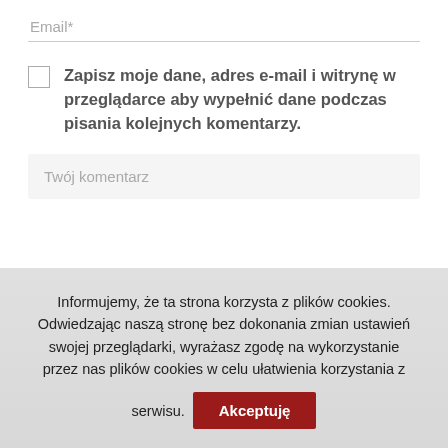Email*
Zapisz moje dane, adres e-mail i witrynę w przeglądarce aby wypełnić dane podczas pisania kolejnych komentarzy.
Twój komentarz
Informujemy, że ta strona korzysta z plików cookies. Odwiedzając naszą stronę bez dokonania zmian ustawień swojej przeglądarki, wyrażasz zgodę na wykorzystanie przez nas plików cookies w celu ułatwienia korzystania z serwisu.
Akceptuję